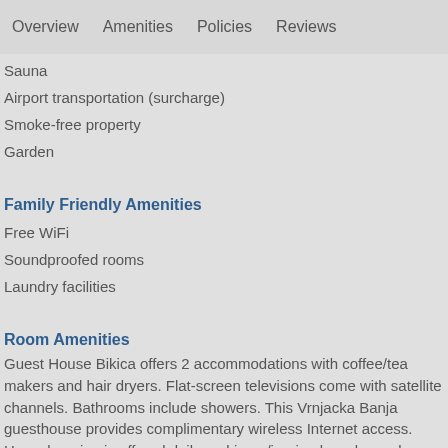Overview   Amenities   Policies   Reviews
Sauna
Airport transportation (surcharge)
Smoke-free property
Garden
Family Friendly Amenities
Free WiFi
Soundproofed rooms
Laundry facilities
Room Amenities
Guest House Bikica offers 2 accommodations with coffee/tea makers and hair dryers. Flat-screen televisions come with satellite channels. Bathrooms include showers. This Vrnjacka Banja guesthouse provides complimentary wireless Internet access. Housekeeping is offered daily and irons/ironing boards can be requested.
Coffee/tea maker